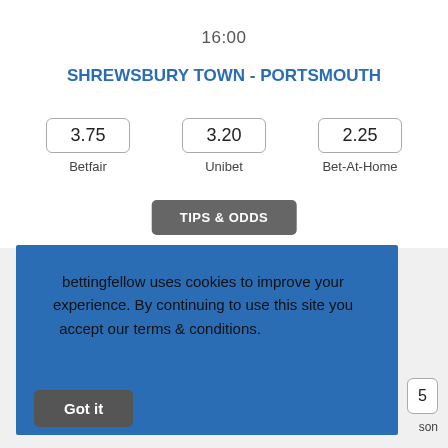16:00
SHREWSBURY TOWN - PORTSMOUTH
| Odds | Bookmaker |
| --- | --- |
| 3.75 | Betfair |
| 3.20 | Unibet |
| 2.25 | Bet-At-Home |
TIPS & ODDS
bettingfellow uses cookies to improve your experience. By continuing to use this site you accept our terms & conditions. Learn more  Got it